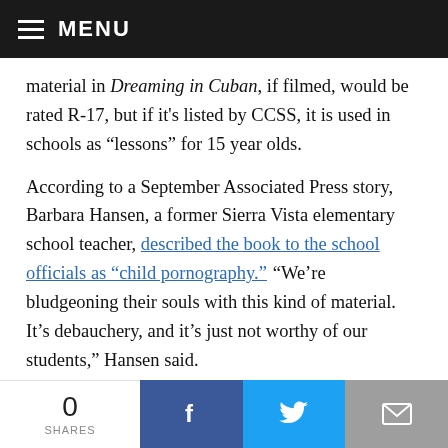MENU
material in Dreaming in Cuban, if filmed, would be rated R-17, but if it's listed by CCSS, it is used in schools as “lessons” for 15 year olds.
According to a September Associated Press story, Barbara Hansen, a former Sierra Vista elementary school teacher, described the book to the school officials as “child pornography.” “We’re bludgeoning their souls with this kind of material. It’s debauchery, and it’s just not worthy of our students,” Hansen said.
0 SHARES